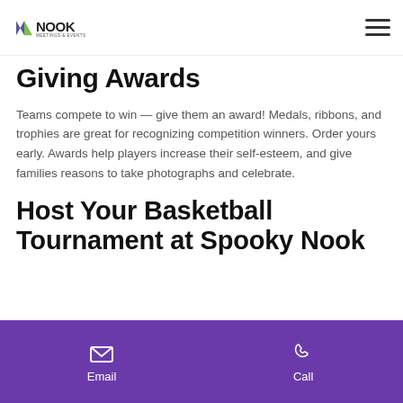Nook Meetings & Events
Giving Awards
Teams compete to win — give them an award! Medals, ribbons, and trophies are great for recognizing competition winners. Order yours early. Awards help players increase their self-esteem, and give families reasons to take photographs and celebrate.
Host Your Basketball Tournament at Spooky Nook
Email | Call